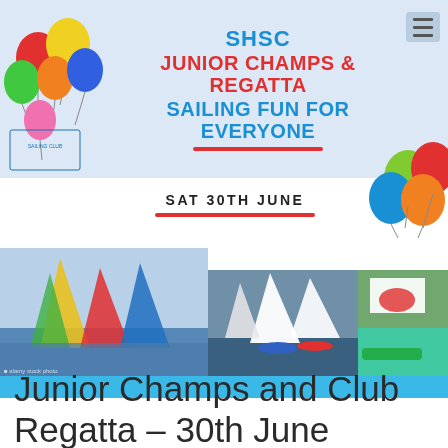SHSC JUNIOR CHAMPS & REGATTA SAILING FUN FOR EVERYONE
SAT 30TH JUNE
[Figure (photo): Header banner with colorful balloons on left, SHSC sailing club logo, and text. Below: three sailing regatta photos showing sailboats on water with children racing, plus colorful balloon cluster on right. Blue wave graphic at bottom.]
Junior Champs and Club Regatta – 30th June